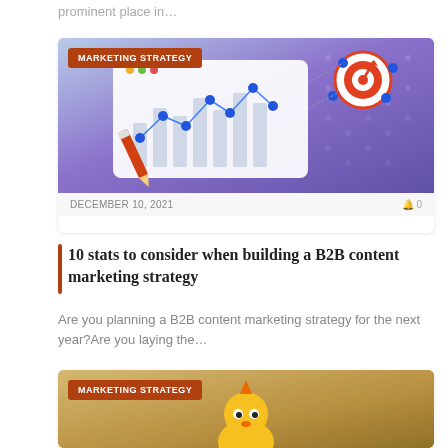prominent place in…
[Figure (illustration): Marketing strategy article card with purple gradient background showing a 3D scatter plot illustration with a target/bullseye icon, pencil, and data points connected by lines. Badge: MARKETING STRATEGY]
DECEMBER 10, 2021   0
10 stats to consider when building a B2B content marketing strategy
Are you planning a B2B content marketing strategy for the next year?Are you laying the…
[Figure (illustration): Marketing strategy article card with sandy/tan background showing a yellow cartoon chicken figurine. Badge: MARKETING STRATEGY]